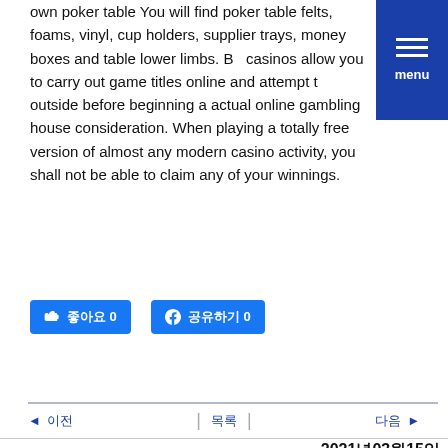own poker table You will find poker table felts, foams, vinyl, cup holders, supplier trays, money boxes and table lower limbs. Be casinos allow you to carry out game titles online and attempt to outside before beginning a actual online gambling house consideration. When playing a totally free version of almost any modern casino activity, you shall not be able to claim any of your winnings.
[Figure (other): Menu button - blue square with three horizontal white lines and 'menu' text]
[Figure (other): Like button - blue rounded rectangle with thumbs up icon and Korean text '좋아요 0']
[Figure (other): Facebook share button - blue rounded rectangle with Facebook icon and Korean text '공유하기 0']
2021년03월15일
◄  이전  |  목록  |  다음  ►